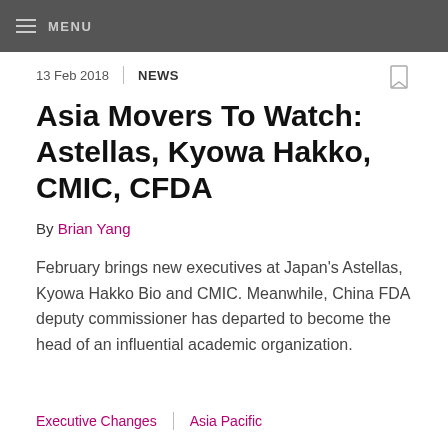MENU
13 Feb 2018  |  NEWS
Asia Movers To Watch: Astellas, Kyowa Hakko, CMIC, CFDA
By Brian Yang
February brings new executives at Japan's Astellas, Kyowa Hakko Bio and CMIC. Meanwhile, China FDA deputy commissioner has departed to become the head of an influential academic organization.
Executive Changes  |  Asia Pacific